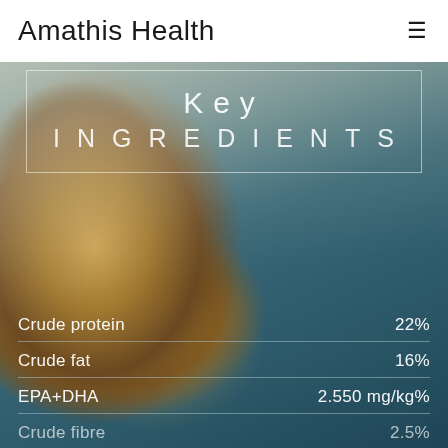Amathis Health
[Figure (photo): Close-up photo of a cat's face and whiskers, overlaid with teal/dark blue color tone, serving as hero section background]
Key
INGREDIENTS
Crude protein    22%
Crude fat    16%
EPA+DHA    2.550 mg/kg%
Crude fibre    2.5%